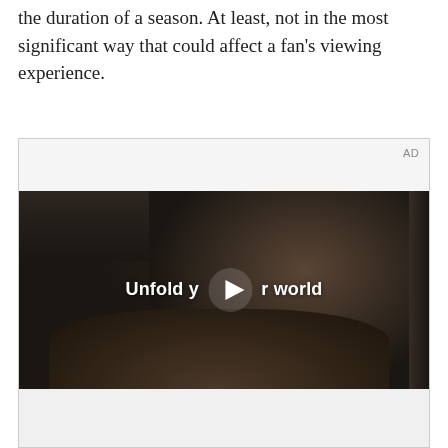the duration of a season. At least, not in the most significant way that could affect a fan's viewing experience.
[Figure (screenshot): Advertisement unit showing a video ad with a woman holding a foldable Samsung phone in a car interior. Text overlay reads 'Unfold your world' with a play button. 'AD' label in top right corner. Gray strips at top and bottom of the ad unit.]